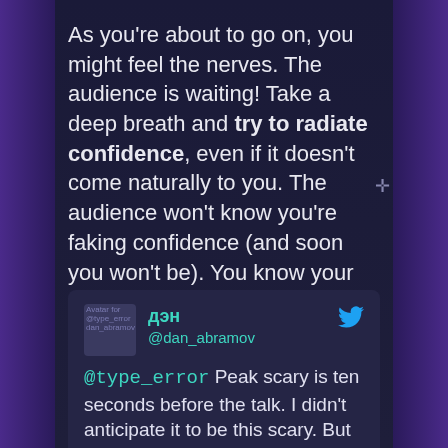As you're about to go on, you might feel the nerves. The audience is waiting! Take a deep breath and try to radiate confidence, even if it doesn't come naturally to you. The audience won't know you're faking confidence (and soon you won't be). You know your stuff, you love your topic, you've rehearsed it time and time again — you are ready. Enjoy it.
[Figure (screenshot): Tweet card from @dan_abramov (дэн) with Twitter bird icon. Text reads: '@type_error Peak scary is ten seconds before the talk. I didn't anticipate it to be this scary. But once you get into your element (by talking about things you care about) the fear goes away completely, it even becomes fun. At least']